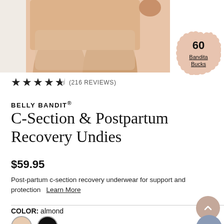[Figure (photo): Close-up product photo of a person wearing nude/skin-tone underwear, cropped to show lower torso and upper thighs against a light background]
[Figure (infographic): Scalloped circular badge in blush/tan color showing '60 Bandita Bucks' reward points]
★★★★½ (216 REVIEWS)
BELLY BANDIT®
C-Section & Postpartum Recovery Undies
$59.95
Post-partum c-section recovery underwear for support and protection   Learn More
COLOR: almond
[Figure (illustration): Two color swatches — almond (light beige/tan circle) and black circle]